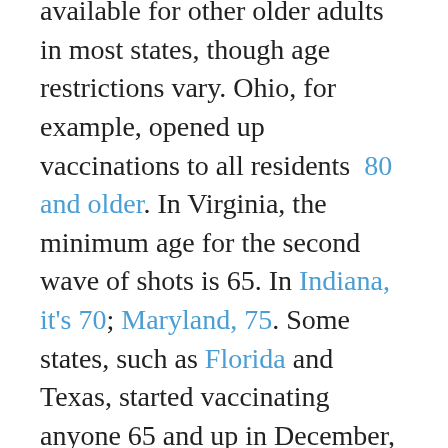available for other older adults in most states, though age restrictions vary. Ohio, for example, opened up vaccinations to all residents 80 and older. In Virginia, the minimum age for the second wave of shots is 65. In Indiana, it's 70; Maryland, 75. Some states, such as Florida and Texas, started vaccinating anyone 65 and up in December, though many states did not begin vaccinating all seniors until January.
Limited doses have left many seniors scrambling to get an inoculation appointment.
For example, at 9 a.m. Thursday, Washington, D.C., opened 2,200 COVID vaccine appointment slots for people 65 and older in several locations.